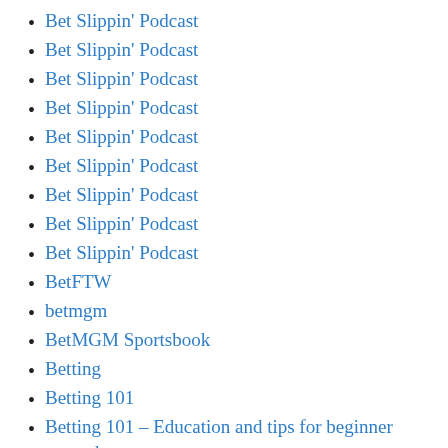Bet Slippin' Podcast
Bet Slippin' Podcast
Bet Slippin' Podcast
Bet Slippin' Podcast
Bet Slippin' Podcast
Bet Slippin' Podcast
Bet Slippin' Podcast
Bet Slippin' Podcast
Bet Slippin' Podcast
BetFTW
betmgm
BetMGM Sportsbook
Betting
Betting 101
Betting 101 – Education and tips for beginner sports bettors